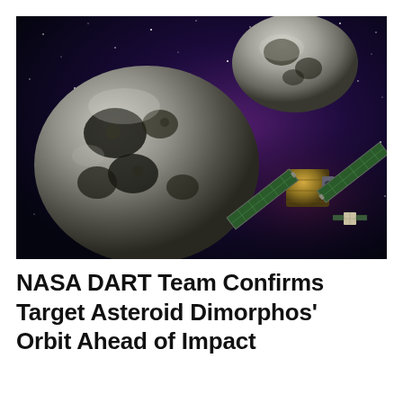[Figure (illustration): Artist's illustration of NASA's DART spacecraft approaching the binary asteroid system Didymos and Dimorphos. Two gray rocky asteroids are visible against a deep space background with purple/blue nebula colors. The DART spacecraft with gold solar panels is seen approaching from the right side.]
NASA DART Team Confirms Target Asteroid Dimorphos' Orbit Ahead of Impact